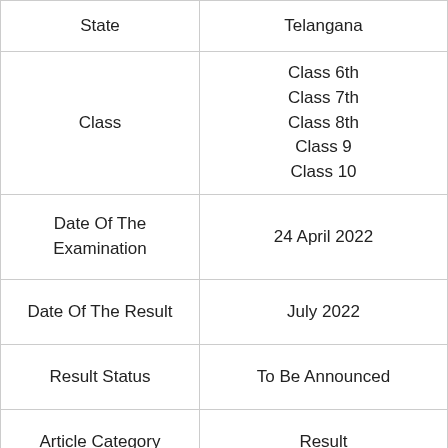| State | Telangana |
| --- | --- |
| Class | Class 6th
Class 7th
Class 8th
Class 9
Class 10 |
| Date Of The Examination | 24 April 2022 |
| Date Of The Result | July 2022 |
| Result Status | To Be Announced |
| Article Category | Result |
| Official Website | telanganams.cgg.gov.in |